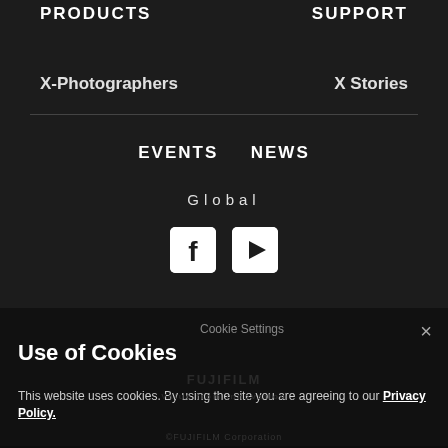PRODUCTS    SUPPORT
X-Photographers
X Stories
EVENTS
NEWS
Global
[Figure (logo): Facebook icon and YouTube icon social media buttons]
CONTACT   PRIVACY POLICY   TERMS OF USE
Cookie Settings
×
Use of Cookies
This website uses cookies. By using the site you are agreeing to our Privacy Policy.